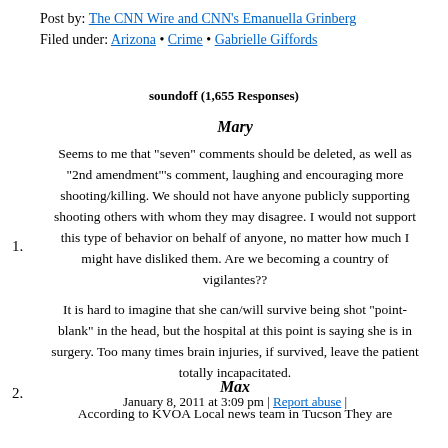Post by: The CNN Wire and CNN's Emanuella Grinberg
Filed under: Arizona • Crime • Gabrielle Giffords
soundoff (1,655 Responses)
1. Mary
Seems to me that "seven" comments should be deleted, as well as "2nd amendment"'s comment, laughing and encouraging more shooting/killing. We should not have anyone publicly supporting shooting others with whom they may disagree. I would not support this type of behavior on behalf of anyone, no matter how much I might have disliked them. Are we becoming a country of vigilantes??
It is hard to imagine that she can/will survive being shot "point-blank" in the head, but the hospital at this point is saying she is in surgery. Too many times brain injuries, if survived, leave the patient totally incapacitated.
January 8, 2011 at 3:09 pm | Report abuse |
2. Max
According to KVOA Local news team in Tucson They are